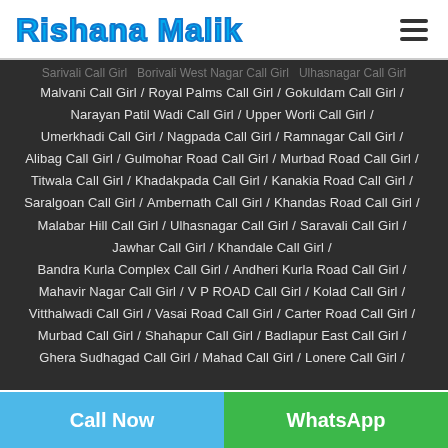Rishana Malik
Malvani Call Girl / Royal Palms Call Girl / Gokuldam Call Girl / Narayan Patil Wadi Call Girl / Upper Worli Call Girl / Umerkhadi Call Girl / Nagpada Call Girl / Ramnagar Call Girl / Alibag Call Girl / Gulmohar Road Call Girl / Murbad Road Call Girl / Titwala Call Girl / Khadakpada Call Girl / Kanakia Road Call Girl / Saralgoan Call Girl / Ambernath Call Girl / Khandas Road Call Girl / Malabar Hill Call Girl / Ulhasnagar Call Girl / Saravali Call Girl / Jawhar Call Girl / Khandale Call Girl / Bandra Kurla Complex Call Girl / Andheri Kurla Road Call Girl / Mahavir Nagar Call Girl / V P ROAD Call Girl / Kolad Call Girl / Vitthalwadi Call Girl / Vasai Road Call Girl / Carter Road Call Girl / Murbad Call Girl / Shahapur Call Girl / Badlapur East Call Girl / Ghera Sudhagad Call Girl / Mahad Call Girl / Lonere Call Girl
Call Now
WhatsApp